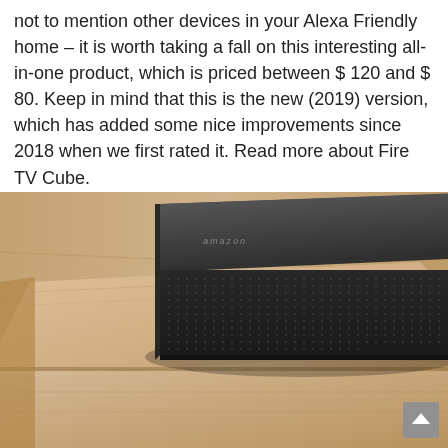not to mention other devices in your Alexa Friendly home – it is worth taking a fall on this interesting all-in-one product, which is priced between $ 120 and $ 80. Keep in mind that this is the new (2019) version, which has added some nice improvements since 2018 when we first rated it. Read more about Fire TV Cube.
[Figure (photo): Photo of an Amazon Fire TV Cube — a black rectangular device with speaker grille mesh on the front and sides, sitting on a light wood furniture surface (nightstand or shelf).]